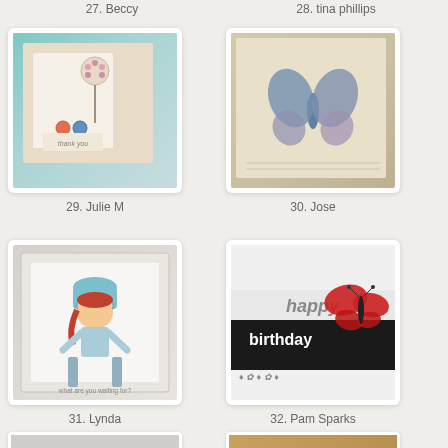27. Beccy
28. tina phillips
[Figure (photo): Handmade greeting card with teal/blue background, decorative flower lollipop with pink dots, colorful buttons, and 'thank you' text]
29. Julie M
[Figure (photo): Handmade card with vintage butterfly stamp in blue, postcard style elements on aged/cream background]
30. Jose
[Figure (photo): Handmade card featuring a cartoon girl in ski/winter gear with goggles and blue hat, text reads 'what are you waiting for?']
31. Lynda
[Figure (photo): Handmade birthday card with red butterfly die-cut and 'happy birthday' text in white on black background]
32. Pam Sparks
[Figure (photo): Partial view of a handmade card, appears to be cut off at bottom]
[Figure (photo): Partial view of a handmade card with brown/tan tones, cut off at bottom]